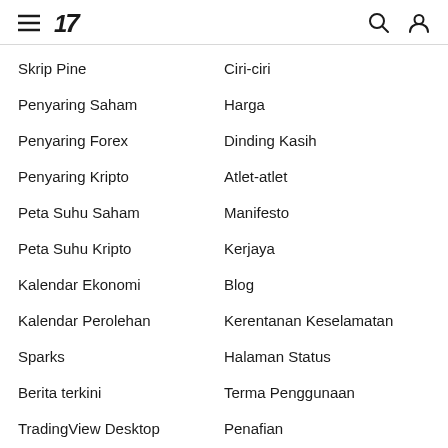TradingView navigation menu
Skrip Pine
Penyaring Saham
Penyaring Forex
Penyaring Kripto
Peta Suhu Saham
Peta Suhu Kripto
Kalendar Ekonomi
Kalendar Perolehan
Sparks
Berita terkini
TradingView Desktop
Ciri-ciri
Harga
Dinding Kasih
Atlet-atlet
Manifesto
Kerjaya
Blog
Kerentanan Keselamatan
Halaman Status
Terma Penggunaan
Penafian
Dasar Privasi